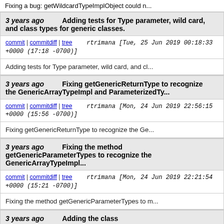Fixing a bug: getWildcardTypeImplObject could n...
3 years ago   Adding tests for Type parameter, wild card, and class types for generic classes.
commit | commitdiff | tree   rtrimana [Tue, 25 Jun 2019 00:18:33 +0000 (17:18 -0700)]
Adding tests for Type parameter, wild card, and cl...
3 years ago   Fixing getGenericReturnType to recognize the GenericArrayTypeImpl and ParameterizedTy...
commit | commitdiff | tree   rtrimana [Mon, 24 Jun 2019 22:56:15 +0000 (15:56 -0700)]
Fixing getGenericReturnType to recognize the Ge...
3 years ago   Fixing the method getGenericParameterTypes to recognize the GenericArrayTypeImpl...
commit | commitdiff | tree   rtrimana [Mon, 24 Jun 2019 22:21:54 +0000 (15:21 -0700)]
Fixing the method getGenericParameterTypes to m...
3 years ago   Adding the class...